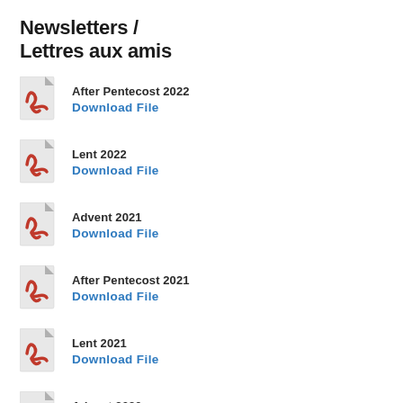Newsletters / Lettres aux amis
After Pentecost 2022 / Download File
Lent 2022 / Download File
Advent 2021 / Download File
After Pentecost 2021 / Download File
Lent 2021 / Download File
Advent 2020 / Download File
After Pentecost 2020